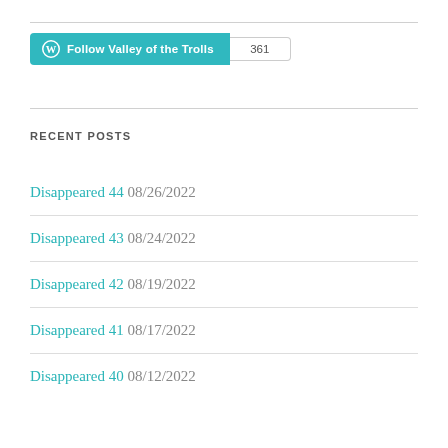[Figure (other): WordPress Follow button for 'Valley of the Trolls' with follower count badge showing 361]
RECENT POSTS
Disappeared 44 08/26/2022
Disappeared 43 08/24/2022
Disappeared 42 08/19/2022
Disappeared 41 08/17/2022
Disappeared 40 08/12/2022